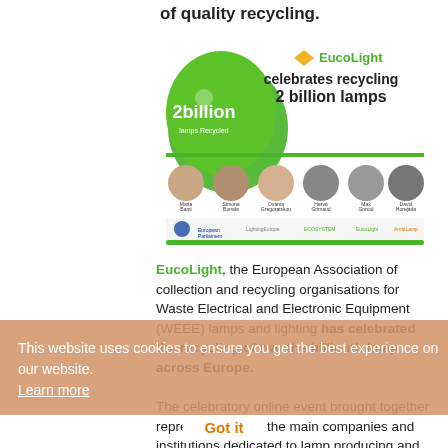of quality recycling.
[Figure (infographic): EucoLight celebrates recycling 2 billion lamps. Banner with green logo, speaker portraits (Maria Banti, Simona Bonafe, Oxania Gregoratskou, Herve Grimaud, Max Gonod, David Horejada), and logos of European Commission, European Parliament, LightingEurope, Ecosystem, EucoLight, AmbiLamp.]
EucoLight, the European Association of collection and recycling organisations for Waste Electrical and Electronic Equipment (WEEE) lamps and lighting has celebrated the recycling of two the billionth lamp across Europe.
The celebratory online event brought together representatives of the main companies and institutions dedicated to lamp producing and recycling. The
This website uses cookies to ensure you get the best experience on our website. Learn more
Got it